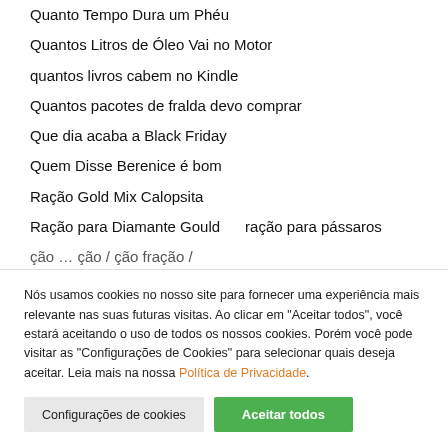Quanto Tempo Dura um Phéu
Quantos Litros de Óleo Vai no Motor
quantos livros cabem no Kindle
Quantos pacotes de fralda devo comprar
Que dia acaba a Black Friday
Quem Disse Berenice é bom
Ração Gold Mix Calopsita
Ração para Diamante Gould     ração para pássaros
ção … ção / ção fração /
Nós usamos cookies no nosso site para fornecer uma experiência mais relevante nas suas futuras visitas. Ao clicar em "Aceitar todos", você estará aceitando o uso de todos os nossos cookies. Porém você pode visitar as "Configurações de Cookies" para selecionar quais deseja aceitar. Leia mais na nossa Política de Privacidade.
Configurações de cookies | Aceitar todos